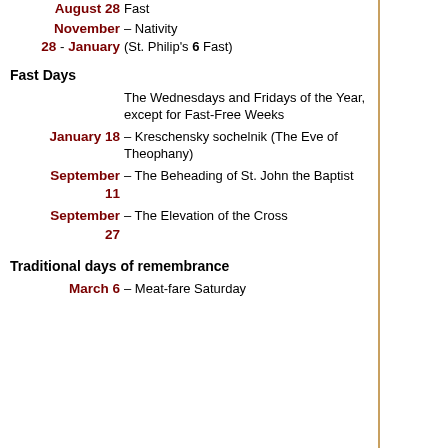August 28 – Fast
November 28 - January 6 – Nativity (St. Philip's Fast)
Fast Days
The Wednesdays and Fridays of the Year, except for Fast-Free Weeks
January 18 – Kreschensky sochelnik (The Eve of Theophany)
September 11 – The Beheading of St. John the Baptist
September 27 – The Elevation of the Cross
Traditional days of remembrance
March 6 – Meat-fare Saturday